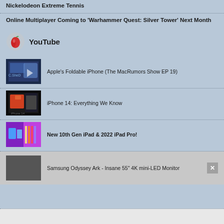Nickelodeon Extreme Tennis
Online Multiplayer Coming to 'Warhammer Quest: Silver Tower' Next Month
YouTube
Apple's Foldable iPhone (The MacRumors Show EP 19)
iPhone 14: Everything We Know
New 10th Gen iPad & 2022 iPad Pro!
Samsung Odyssey Ark - Insane 55" 4K mini-LED Monitor